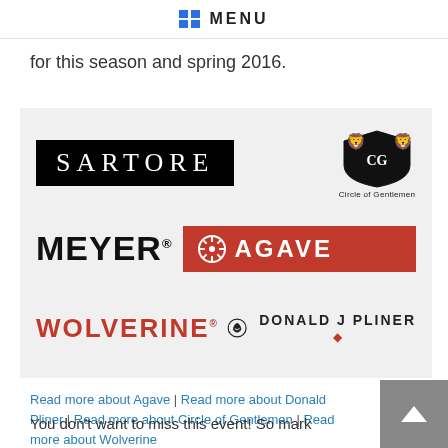MENU
for this season and spring 2016.
[Figure (logo): Brand logos: Sartore (black box with white serif text), Circle of Gentlemen (heraldic emblem with lions), Meyer (bold black sans-serif), Agave (red box with sunburst icon and white text), Wolverine (red bold text with helmet icon), Donald J Pliner (bold black text with red diamond)]
Read more about Agave | Read more about Donald Pliner | Read more about Circle of Gentlemen | Read more about Wolverine
You don't want to miss this event! So mark